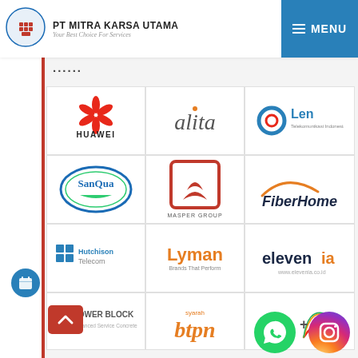PT MITRA KARSA UTAMA — Your Best Choice For Services
[Figure (logo): Huawei logo — red flower/circles icon with HUAWEI text]
[Figure (logo): alita logo — lowercase italic text with orange dot]
[Figure (logo): Len Telekomunikasi Indonesia logo — circular blue/red icon]
[Figure (logo): SanQua logo — oval blue/green brand mark]
[Figure (logo): Masper Group logo — red square with leaf design]
[Figure (logo): FiberHome logo — dark blue text with orange swoosh]
[Figure (logo): Hutchison Telecom logo — blue windows icon with company name]
[Figure (logo): Lyman logo — orange bold text with tagline]
[Figure (logo): elevenia logo — dark blue text with orange dot on i]
[Figure (logo): Power Block logo — green icon with company name]
[Figure (logo): btpn syariah logo — orange stylized text]
[Figure (logo): ICON+ logo — multicolor icon with company name]